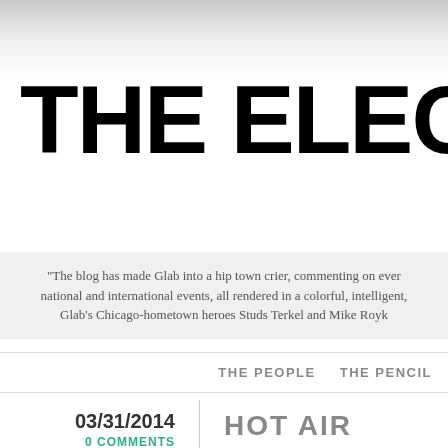THE ELECTRO
"The blog has made Glab into a hip town crier, commenting on every national and international events, all rendered in a colorful, intelligent, Glab's Chicago-hometown heroes Studs Terkel and Mike Royk
THE PEOPLE   THE PENCIL
03/31/2014
0 COMMENTS
HOT AIR